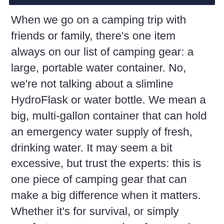When we go on a camping trip with friends or family, there's one item always on our list of camping gear: a large, portable water container. No, we're not talking about a slimline HydroFlask or water bottle. We mean a big, multi-gallon container that can hold an emergency water supply of fresh, drinking water. It may seem a bit excessive, but trust the experts: this is one piece of camping gear that can make a big difference when it matters. Whether it's for survival, or simply comfort, a water container for camping is always a great idea.